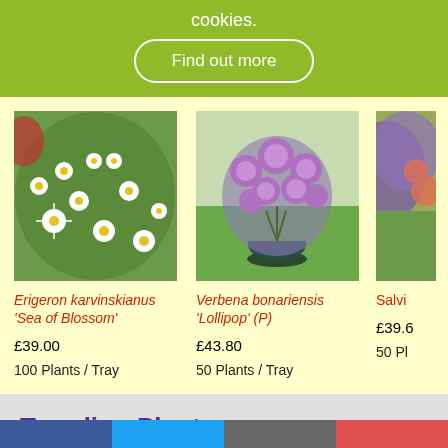cookies.
Find out more
[Figure (photo): Erigeron karvinskianus Sea of Blossom – dense white daisies with yellow centres among green foliage]
Erigeron karvinskianus 'Sea of Blossom'
£39.00
100 Plants / Tray
[Figure (photo): Verbena bonariensis Lollipop in a dark green pot, showing clusters of purple flowers in a garden setting]
Verbena bonariensis 'Lollipop' (P)
£43.80
50 Plants / Tray
[Figure (photo): Partial view of a third plant (Salvi...) with purple/colourful flowers, cropped]
Salvi...
£39.6...
50 Pl...
Trending Plants